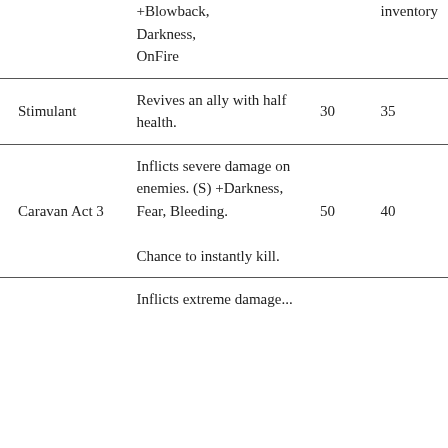| Name | Description | Col3 | Col4 |
| --- | --- | --- | --- |
|  | +Blowback, Darkness, OnFire |  | inventory |
| Stimulant | Revives an ally with half health. | 30 | 35 |
| Caravan Act 3 | Inflicts severe damage on enemies. (S) +Darkness, Fear, Bleeding. Chance to instantly kill. | 50 | 40 |
|  | Inflicts extreme damage... |  |  |